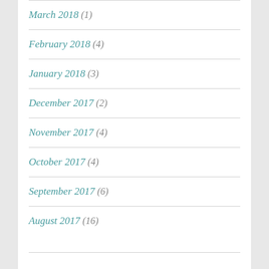March 2018 (1)
February 2018 (4)
January 2018 (3)
December 2017 (2)
November 2017 (4)
October 2017 (4)
September 2017 (6)
August 2017 (16)
Blog Stats